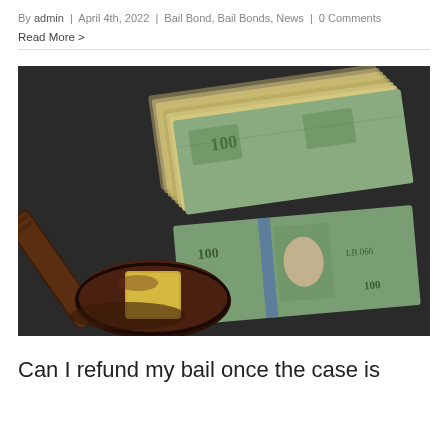By admin | April 4th, 2022 | Bail Bond, Bail Bonds, News | 0 Comments
Read More >
[Figure (photo): A judge's wooden gavel with a gold band resting on top of spread US $100 dollar bills on a dark surface]
Can I refund my bail once the case is